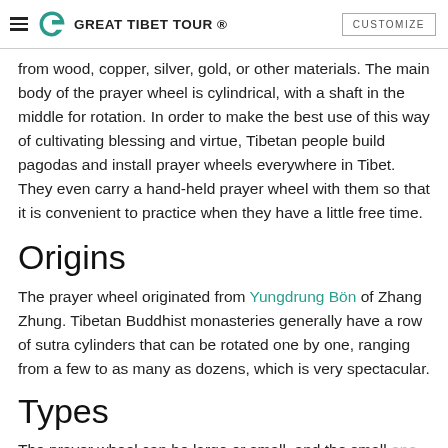GREAT TIBET TOUR ® CUSTOMIZE
from wood, copper, silver, gold, or other materials. The main body of the prayer wheel is cylindrical, with a shaft in the middle for rotation. In order to make the best use of this way of cultivating blessing and virtue, Tibetan people build pagodas and install prayer wheels everywhere in Tibet. They even carry a hand-held prayer wheel with them so that it is convenient to practice when they have a little free time.
Origins
The prayer wheel originated from Yungdrung Bön of Zhang Zhung. Tibetan Buddhist monasteries generally have a row of sutra cylinders that can be rotated one by one, ranging from a few to as many as dozens, which is very spectacular.
Types
The prayer wheel can be large or small, and the small one can be held in the hand. This kind of hand prayer wheel is also called the hand-held Mani wheel, which is made from